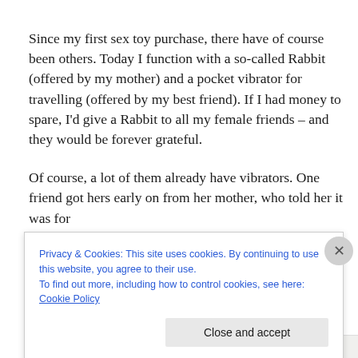Since my first sex toy purchase, there have of course been others. Today I function with a so-called Rabbit (offered by my mother) and a pocket vibrator for travelling (offered by my best friend). If I had money to spare, I'd give a Rabbit to all my female friends – and they would be forever grateful.
Of course, a lot of them already have vibrators. One friend got hers early on from her mother, who told her it was for
Privacy & Cookies: This site uses cookies. By continuing to use this website, you agree to their use.
To find out more, including how to control cookies, see here: Cookie Policy
Close and accept